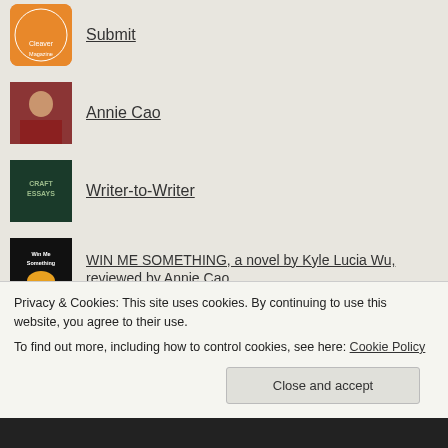Submit
Annie Cao
Writer-to-Writer
WIN ME SOMETHING, a novel by Kyle Lucia Wu, reviewed by Annie Cao
SUMMER LIGHTNING '22 FLASH CONTEST
A DANGER TO HERSELF AND
Privacy & Cookies: This site uses cookies. By continuing to use this website, you agree to their use.
To find out more, including how to control cookies, see here: Cookie Policy
Close and accept